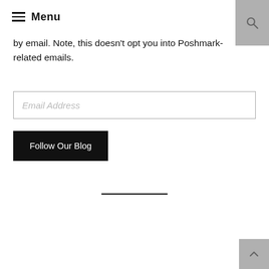Menu
by email. Note, this doesn't opt you into Poshmark-related emails.
Email Address
Follow Our Blog